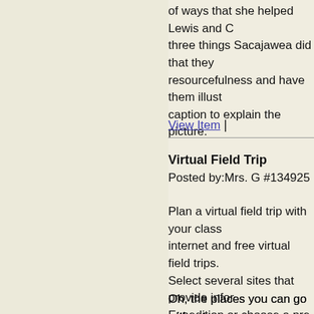of ways that she helped Lewis and C... three things Sacajawea did that they... resourcefulness and have them illust... caption to explain the picture.
View Item |
Virtual Field Trip
Posted by:Mrs. G #134925
Plan a virtual field trip with your class... internet and free virtual field trips. Select several sites that provide infor... Expedition or choose a pre-made fiel... questions that students can answer b...
Oh, the places you can go without ev...
View Item |
Lewis and Clark Journals
Posted by:Mrs. G #135005
Lewis and Clark Journals... child...